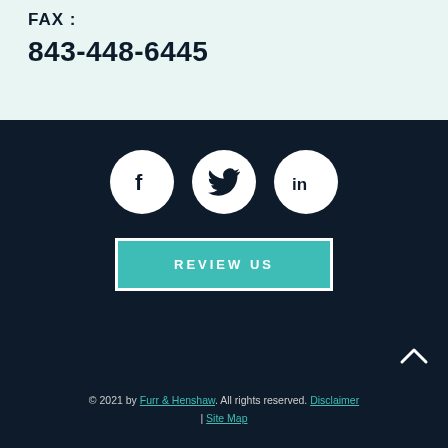FAX :
843-448-6445
[Figure (illustration): Three white circular social media icons on dark background: Facebook (f), Twitter (bird), LinkedIn (in)]
REVIEW US
© 2021 by Furr & Henshaw. All rights reserved. Disclaimer | Site Map